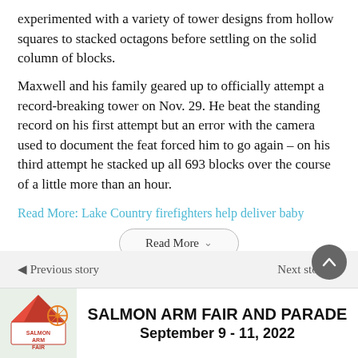experimented with a variety of tower designs from hollow squares to stacked octagons before settling on the solid column of blocks.
Maxwell and his family geared up to officially attempt a record-breaking tower on Nov. 29. He beat the standing record on his first attempt but an error with the camera used to document the feat forced him to go again – on his third attempt he stacked up all 693 blocks over the course of a little more than an hour.
Read More: Lake Country firefighters help deliver baby
Read More
[Figure (screenshot): Navigation strip with Previous story and Next story buttons, and a scroll-to-top circular button]
[Figure (infographic): Advertisement banner for Salmon Arm Fair and Parade, September 9-11, 2022, with a fair logo on the left and bold text on the right]